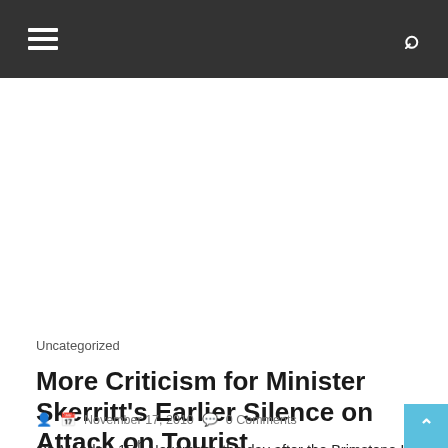≡  🔍
Uncategorized
More Criticism for Minister Skerritt's Earlier Silence on Attack on Tourist
November 17, 2010  0 Comments
On Monday, 15th November, the day after the Brimstone Hill